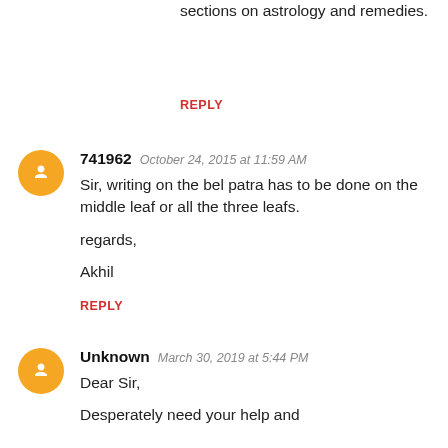sections on astrology and remedies.
REPLY
741962   October 24, 2015 at 11:59 AM
Sir, writing on the bel patra has to be done on the middle leaf or all the three leafs.

regards,

Akhil
REPLY
Unknown   March 30, 2019 at 5:44 PM
Dear Sir,

Desperately need your help and